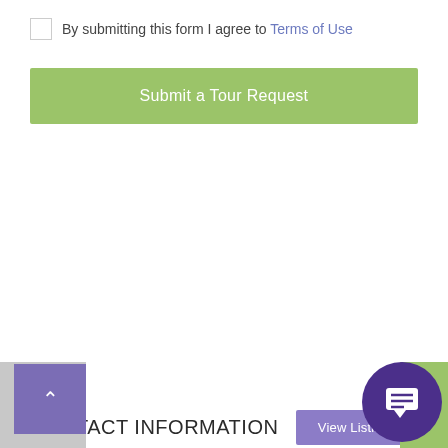By submitting this form I agree to Terms of Use
Submit a Tour Request
CONTACT INFORMATION
View Listings
ENQUIRE ABOUT THIS PROPERTY
Name
Enter your name